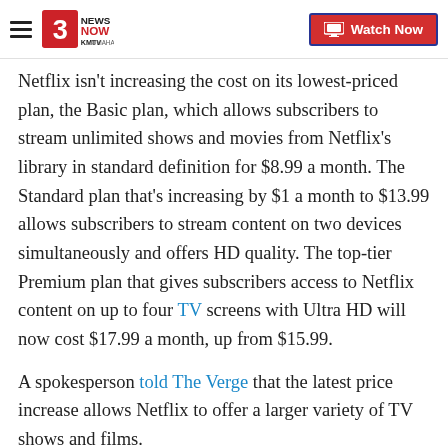3 News Now KMTV Omaha | Watch Now
Netflix isn't increasing the cost on its lowest-priced plan, the Basic plan, which allows subscribers to stream unlimited shows and movies from Netflix's library in standard definition for $8.99 a month. The Standard plan that's increasing by $1 a month to $13.99 allows subscribers to stream content on two devices simultaneously and offers HD quality. The top-tier Premium plan that gives subscribers access to Netflix content on up to four TV screens with Ultra HD will now cost $17.99 a month, up from $15.99.
A spokesperson told The Verge that the latest price increase allows Netflix to offer a larger variety of TV shows and films.